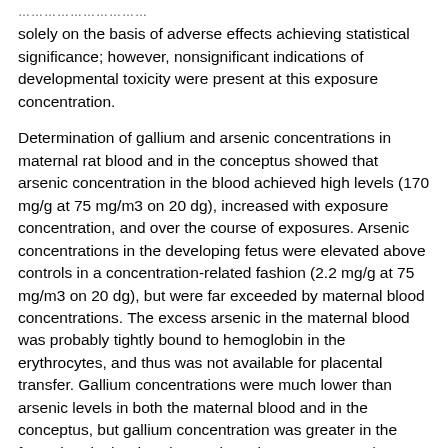solely on the basis of adverse effects achieving statistical significance; however, nonsignificant indications of developmental toxicity were present at this exposure concentration.
Determination of gallium and arsenic concentrations in maternal rat blood and in the conceptus showed that arsenic concentration in the blood achieved high levels (170 mg/g at 75 mg/m3 on 20 dg), increased with exposure concentration, and over the course of exposures. Arsenic concentrations in the developing fetus were elevated above controls in a concentration-related fashion (2.2 mg/g at 75 mg/m3 on 20 dg), but were far exceeded by maternal blood concentrations. The excess arsenic in the maternal blood was probably tightly bound to hemoglobin in the erythrocytes, and thus was not available for placental transfer. Gallium concentrations were much lower than arsenic levels in both the maternal blood and in the conceptus, but gallium concentration was greater in the fetus than in the dam (approximately 1.3 vs. 0.5 mg/g at 75